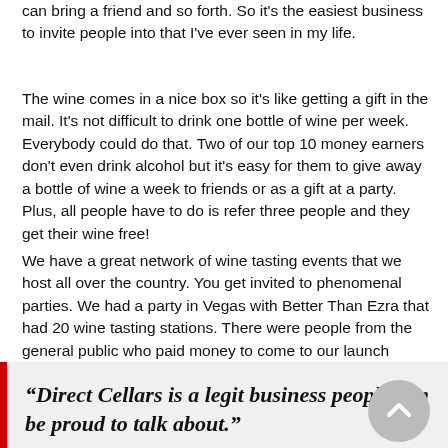can bring a friend and so forth. So it's the easiest business to invite people into that I've ever seen in my life.
The wine comes in a nice box so it's like getting a gift in the mail. It's not difficult to drink one bottle of wine per week. Everybody could do that. Two of our top 10 money earners don't even drink alcohol but it's easy for them to give away a bottle of wine a week to friends or as a gift at a party. Plus, all people have to do is refer three people and they get their wine free!
We have a great network of wine tasting events that we host all over the country. You get invited to phenomenal parties. We had a party in Vegas with Better Than Ezra that had 20 wine tasting stations. There were people from the general public who paid money to come to our launch event! When does that happen in network marketing?! The general public was buying tickets to come to an opportunity event!
“Direct Cellars is a legit business people can be proud to talk about.”